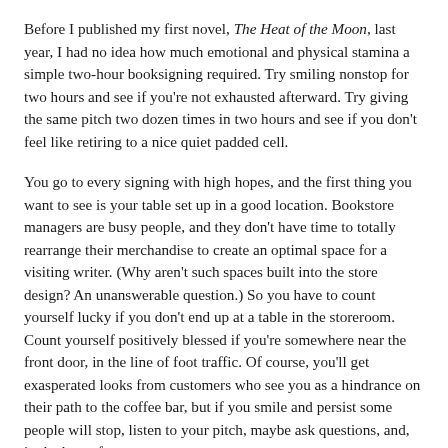Before I published my first novel, The Heat of the Moon, last year, I had no idea how much emotional and physical stamina a simple two-hour booksigning required. Try smiling nonstop for two hours and see if you're not exhausted afterward. Try giving the same pitch two dozen times in two hours and see if you don't feel like retiring to a nice quiet padded cell.
You go to every signing with high hopes, and the first thing you want to see is your table set up in a good location. Bookstore managers are busy people, and they don't have time to totally rearrange their merchandise to create an optimal space for a visiting writer. (Why aren't such spaces built into the store design? An unanswerable question.) So you have to count yourself lucky if you don't end up at a table in the storeroom. Count yourself positively blessed if you're somewhere near the front door, in the line of foot traffic. Of course, you'll get exasperated looks from customers who see you as a hindrance on their path to the coffee bar, but if you smile and persist some people will stop, listen to your pitch, maybe ask questions, and, in the best of